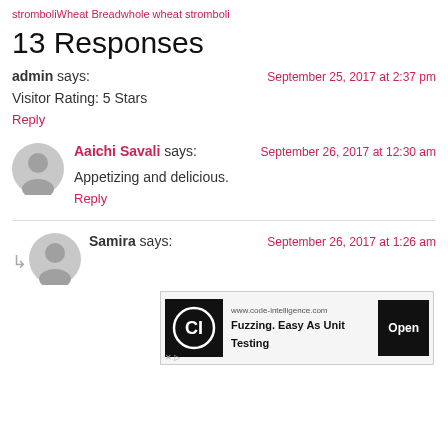stromboliWheat Breadwhole wheat stromboli
13 Responses
admin says:
September 25, 2017 at 2:37 pm
Visitor Rating: 5 Stars
Reply
Aaichi Savali says:
September 26, 2017 at 12:30 am
Appetizing and delicious.
Reply
Samira says:
September 26, 2017 at 1:26 am
[Figure (other): Advertisement banner for code-intelligence.com: Fuzzing. Easy As Unit Testing, with Open button]